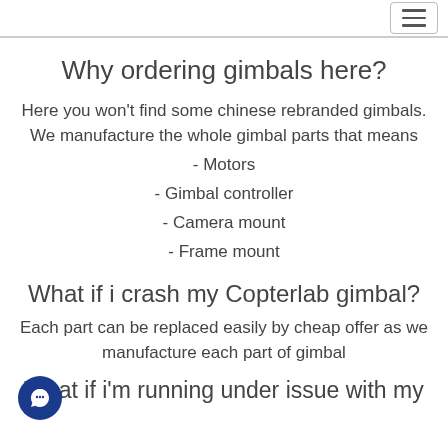navigation menu
Why ordering gimbals here?
Here you won't find some chinese rebranded gimbals. We manufacture the whole gimbal parts that means
- Motors
- Gimbal controller
- Camera mount
- Frame mount
What if i crash my Copterlab gimbal?
Each part can be replaced easily by cheap offer as we manufacture each part of gimbal
What if i'm running under issue with my